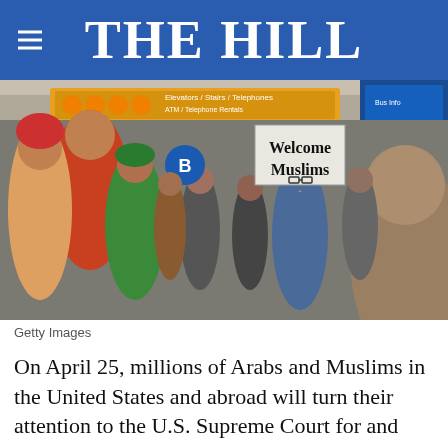THE HILL
[Figure (photo): Airport scene with a person holding a 'Welcome Muslims' sign amid a crowd of travelers. Colorful directional signs visible overhead including a blue circle with letter B.]
Getty Images
On April 25, millions of Arabs and Muslims in the United States and abroad will turn their attention to the U.S. Supreme Court for and against President Trump's third attempt at a Muslim
[Figure (infographic): Advertisement: GET DOWN WITH YOUR BLOOD PRESSURE - In partnership with the Office of Minority Health and Health Resources & Services Administration. ACT NOW button. Logos: ad council, American Heart Association, AMA.]